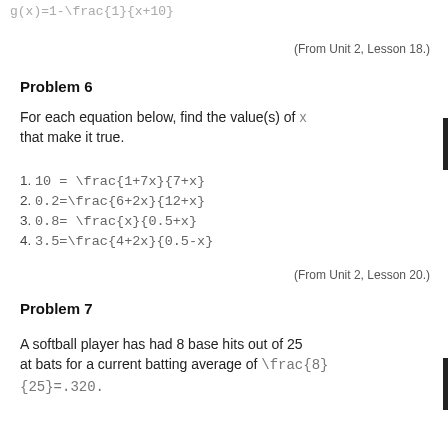(From Unit 2, Lesson 18.)
Problem 6
For each equation below, find the value(s) of x that make it true.
1. 10 = \frac{1+7x}{7+x}
2. 0.2=\frac{6+2x}{12+x}
3. 0.8= \frac{x}{0.5+x}
4. 3.5=\frac{4+2x}{0.5-x}
(From Unit 2, Lesson 20.)
Problem 7
A softball player has had 8 base hits out of 25 at bats for a current batting average of \frac{8}{25}=.320.